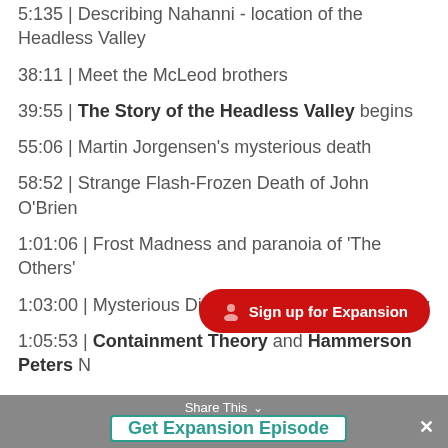5:135 | Describing Nahanni - location of the Headless Valley
38:11 | Meet the McLeod brothers
39:55 | The Story of the Headless Valley begins
55:06 | Martin Jorgensen’s mysterious death
58:52 | Strange Flash-Frozen Death of John O’Brien
1:01:06 | Frost Madness and paranoia of ‘The Others’
1:03:00 | Mysterious Disappearance of May Lafferty
1:05:53 | Containment Theory and Hammerson Peters N...
Share This ∨ Get Expansion Episode